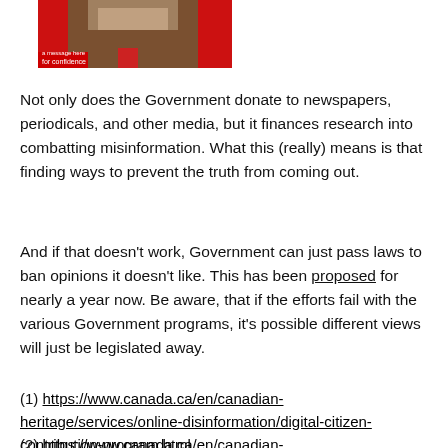[Figure (photo): Partial photo of a man in a dark suit with a red tie, in front of a red background with partial text visible. Only the lower face/neck area is visible.]
Not only does the Government donate to newspapers, periodicals, and other media, but it finances research into combatting misinformation. What this (really) means is that finding ways to prevent the truth from coming out.
And if that doesn't work, Government can just pass laws to ban opinions it doesn't like. This has been proposed for nearly a year now. Be aware, that if the efforts fail with the various Government programs, it's possible different views will just be legislated away.
(1) https://www.canada.ca/en/canadian-heritage/services/online-disinformation/digital-citizen-contribution-program.html
(2) https://www.canada.ca/en/canadian-heritage/services/online-disinformation/digital-citizen-